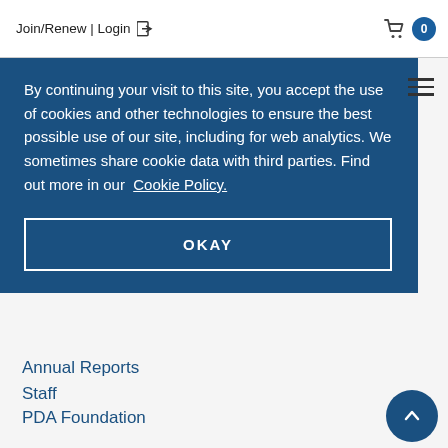Join/Renew | Login  🛒 0
By continuing your visit to this site, you accept the use of cookies and other technologies to ensure the best possible use of our site, including for web analytics. We sometimes share cookie data with third parties. Find out more in our Cookie Policy.
OKAY
Annual Reports
Staff
PDA Foundation
Press Releases
Newsfeed
Buyer's Guide